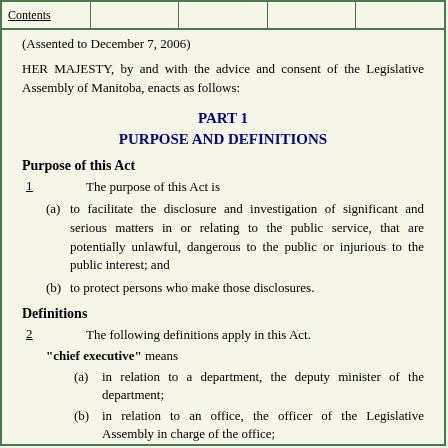Contents
(Assented to December 7, 2006)
HER MAJESTY, by and with the advice and consent of the Legislative Assembly of Manitoba, enacts as follows:
PART 1
PURPOSE AND DEFINITIONS
Purpose of this Act
1   The purpose of this Act is
(a) to facilitate the disclosure and investigation of significant and serious matters in or relating to the public service, that are potentially unlawful, dangerous to the public or injurious to the public interest; and
(b) to protect persons who make those disclosures.
Definitions
2   The following definitions apply in this Act.
"chief executive" means
(a) in relation to a department, the deputy minister of the department;
(b) in relation to an office, the officer of the Legislative Assembly in charge of the office;